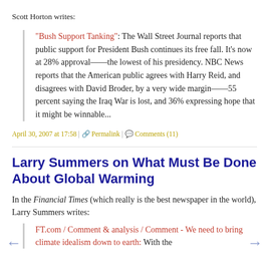Scott Horton writes:
"Bush Support Tanking": The Wall Street Journal reports that public support for President Bush continues its free fall. It's now at 28% approval——the lowest of his presidency. NBC News reports that the American public agrees with Harry Reid, and disagrees with David Broder, by a very wide margin——55 percent saying the Iraq War is lost, and 36% expressing hope that it might be winnable...
April 30, 2007 at 17:58 | Permalink | Comments (11)
Larry Summers on What Must Be Done About Global Warming
In the Financial Times (which really is the best newspaper in the world), Larry Summers writes:
FT.com / Comment & analysis / Comment - We need to bring climate idealism down to earth: With the